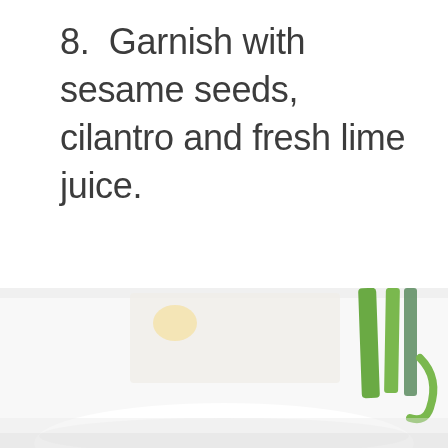8. Garnish with sesame seeds, cilantro and fresh lime juice.
[Figure (photo): Bottom portion of a food photo showing green herbs/vegetables (scallions or green onions) and a white bowl or plate, partially cropped, on a light background.]